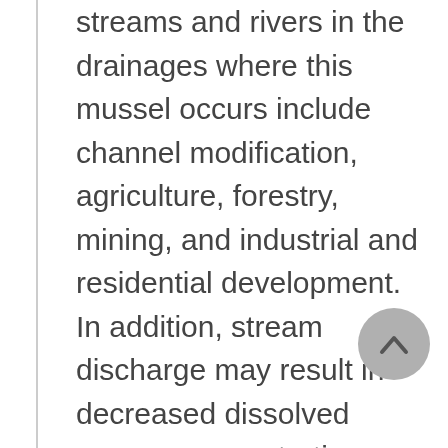streams and rivers in the drainages where this mussel occurs include channel modification, agriculture, forestry, mining, and industrial and residential development. In addition, stream discharge may result in decreased dissolved oxygen concentration, increased acidity and conductivity, and other changes in water chemistry that may impact the mussels and/or fish hosts. About 230 river mi (370.1 km) of the Coosa River have been impounded for hydropower